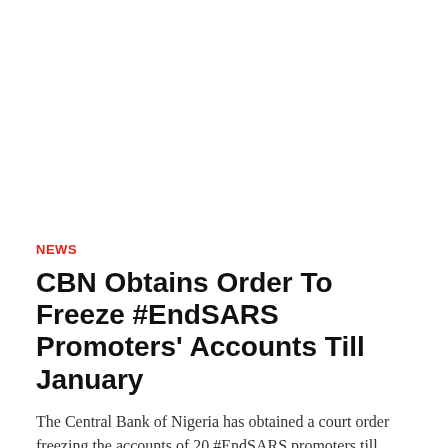NEWS
CBN Obtains Order To Freeze #EndSARS Promoters' Accounts Till January
The Central Bank of Nigeria has obtained a court order freezing the accounts of 20 #EndSARS promoters till …
OSG MEDIA   November 6, 2020   0